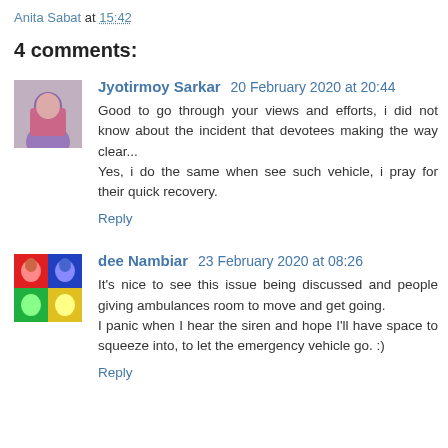Anita Sabat at 15:42
4 comments:
Jyotirmoy Sarkar 20 February 2020 at 20:44
Good to go through your views and efforts, i did not know about the incident that devotees making the way clear...
Yes, i do the same when see such vehicle, i pray for their quick recovery.
Reply
dee Nambiar 23 February 2020 at 08:26
It's nice to see this issue being discussed and people giving ambulances room to move and get going.
I panic when I hear the siren and hope I'll have space to squeeze into, to let the emergency vehicle go. :)
Reply